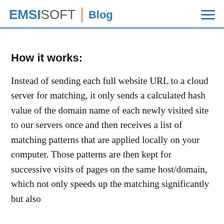EMSISOFT Blog
How it works:
Instead of sending each full website URL to a cloud server for matching, it only sends a calculated hash value of the domain name of each newly visited site to our servers once and then receives a list of matching patterns that are applied locally on your computer. Those patterns are then kept for successive visits of pages on the same host/domain, which not only speeds up the matching significantly but also…